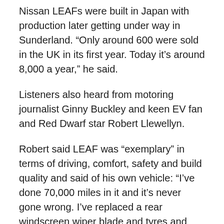Nissan LEAFs were built in Japan with production later getting under way in Sunderland. “Only around 600 were sold in the UK in its first year. Today it’s around 8,000 a year,” he said.
Listeners also heard from motoring journalist Ginny Buckley and keen EV fan and Red Dwarf star Robert Llewellyn.
Robert said LEAF was “exemplary” in terms of driving, comfort, safety and build quality and said of his own vehicle: “I’ve done 70,000 miles in it and it’s never gone wrong. I’ve replaced a rear windscreen wiper blade and tyres and that is all.”
Looking to the future, Nic Thomas mentioned the imminent arrival of Nissan’s all-electric coupe crossover Ariya, saying developments in battery technology were enabling